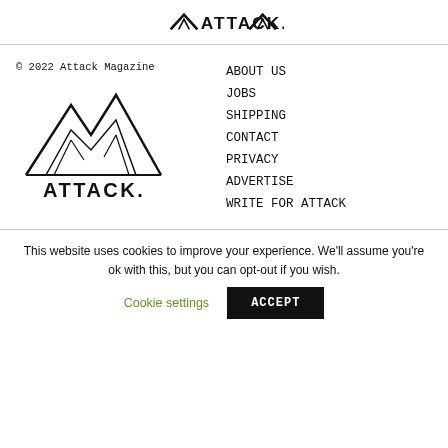ATTACK.
© 2022 Attack Magazine
[Figure (logo): Attack Magazine mountain logo with ATTACK. text below]
ABOUT US
JOBS
SHIPPING
CONTACT
PRIVACY
ADVERTISE
WRITE FOR ATTACK
This website uses cookies to improve your experience. We'll assume you're ok with this, but you can opt-out if you wish.
Cookie settings
ACCEPT